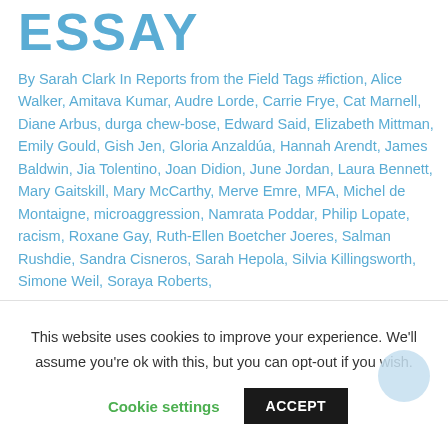ESSAY
By Sarah Clark In Reports from the Field Tags #fiction, Alice Walker, Amitava Kumar, Audre Lorde, Carrie Frye, Cat Marnell, Diane Arbus, durga chew-bose, Edward Said, Elizabeth Mittman, Emily Gould, Gish Jen, Gloria Anzaldúa, Hannah Arendt, James Baldwin, Jia Tolentino, Joan Didion, June Jordan, Laura Bennett, Mary Gaitskill, Mary McCarthy, Merve Emre, MFA, Michel de Montaigne, microaggression, Namrata Poddar, Philip Lopate, racism, Roxane Gay, Ruth-Ellen Boetcher Joeres, Salman Rushdie, Sandra Cisneros, Sarah Hepola, Silvia Killingsworth, Simone Weil, Soraya Roberts,
This website uses cookies to improve your experience. We'll assume you're ok with this, but you can opt-out if you wish.
Cookie settings  ACCEPT